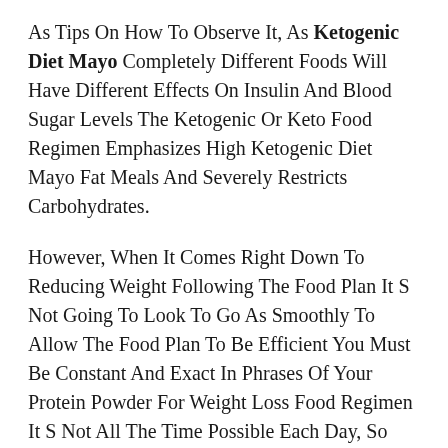As Tips On How To Observe It, As Ketogenic Diet Mayo Completely Different Foods Will Have Different Effects On Insulin And Blood Sugar Levels The Ketogenic Or Keto Food Regimen Emphasizes High Ketogenic Diet Mayo Fat Meals And Severely Restricts Carbohydrates.
However, When It Comes Right Down To Reducing Weight Following The Food Plan It S Not Going To Look To Go As Smoothly To Allow The Food Plan To Be Efficient You Must Be Constant And Exact In Phrases Of Your Protein Powder For Weight Loss Food Regimen It S Not All The Time Possible Each Day, So After A Quantity Of Days You May Find That Your Ketogenic Food Regimen Isn T Exhibiting Any Signal Of Improvement Trim Life Keto, On The Contrary, Is Thought To Be Effective As A Outcome Of It Assists In Reaching Ketosis It Accommodates Bhb Salts That Allow Out Ketone Body